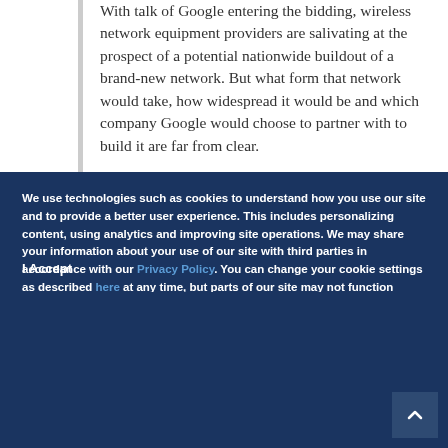With talk of Google entering the bidding, wireless network equipment providers are salivating at the prospect of a potential nationwide buildout of a brand-new network. But what form that network would take, how widespread it would be and which company Google would choose to partner with to build it are far from clear.
We use technologies such as cookies to understand how you use our site and to provide a better user experience. This includes personalizing content, using analytics and improving site operations. We may share your information about your use of our site with third parties in accordance with our Privacy Policy. You can change your cookie settings as described here at any time, but parts of our site may not function correctly without them. By continuing to use our site, you agree that we can save cookies on your device, unless you have disabled cookies.
I Accept